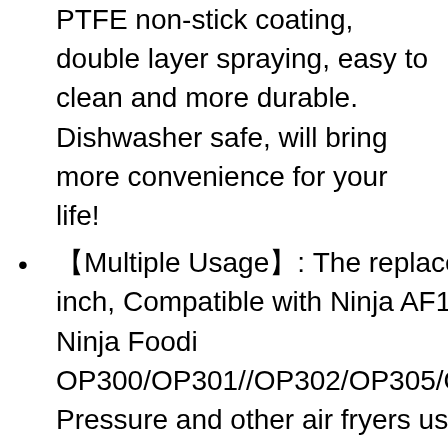PTFE non-stick coating, double layer spraying, easy to clean and more durable. Dishwasher safe, will bring more convenience for your life!
【Multiple Usage】: The replacement crisper pan size is 8.2*8.2 inch, Compatible with Ninja AF100/AF101/AF150/AF161 air fryers, Ninja Foodi OP300/OP301//OP302/OP305/OP401/FD302/FD401/OS101/OS301 Pressure and other air fryers use 8.20x8.20 inch crisper plate